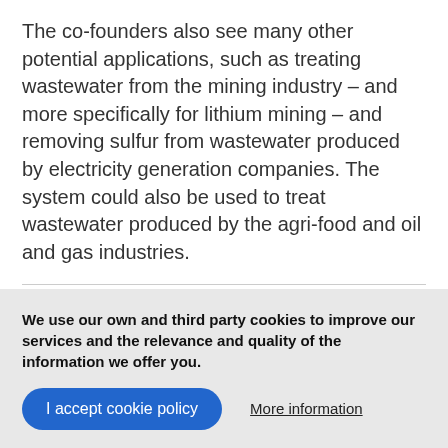The co-founders also see many other potential applications, such as treating wastewater from the mining industry – and more specifically for lithium mining – and removing sulfur from wastewater produced by electricity generation companies. The system could also be used to treat wastewater produced by the agri-food and oil and gas industries.
THEMES
DESALINATION | RESEARCH AND DEVELOPMENT
We use our own and third party cookies to improve our services and the relevance and quality of the information we offer you.
I accept cookie policy
More information